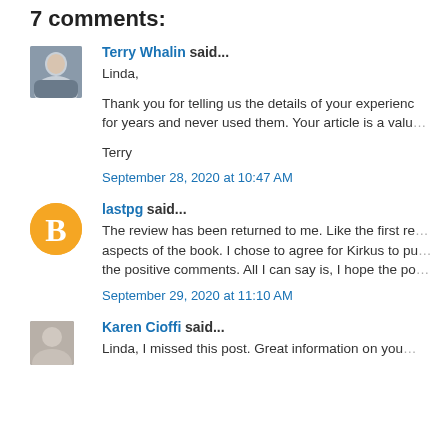7 comments:
Terry Whalin said...
Linda,

Thank you for telling us the details of your experience for years and never used them. Your article is a valu...
Terry
September 28, 2020 at 10:47 AM
lastpg said...
The review has been returned to me. Like the first re... aspects of the book. I chose to agree for Kirkus to pu... the positive comments. All I can say is, I hope the po...
September 29, 2020 at 11:10 AM
Karen Cioffi said...
Linda, I missed this post. Great information on you...